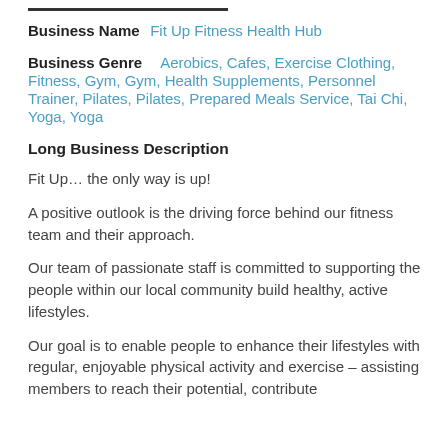Business Name   Fit Up Fitness Health Hub
Business Genre   Aerobics, Cafes, Exercise Clothing, Fitness, Gym, Gym, Health Supplements, Personnel Trainer, Pilates, Pilates, Prepared Meals Service, Tai Chi, Yoga, Yoga
Long Business Description
Fit Up… the only way is up!
A positive outlook is the driving force behind our fitness team and their approach.
Our team of passionate staff is committed to supporting the people within our local community build healthy, active lifestyles.
Our goal is to enable people to enhance their lifestyles with regular, enjoyable physical activity and exercise – assisting members to reach their potential, contribute